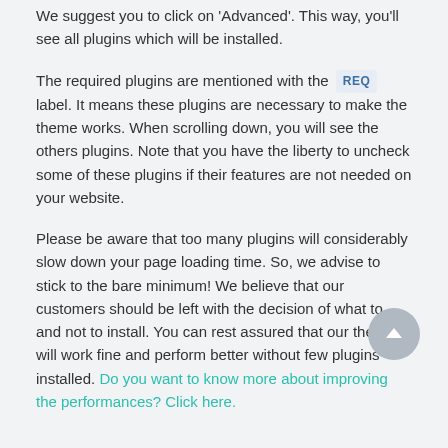We suggest you to click on 'Advanced'. This way, you'll see all plugins which will be installed.
The required plugins are mentioned with the REQ label. It means these plugins are necessary to make the theme works. When scrolling down, you will see the others plugins. Note that you have the liberty to uncheck some of these plugins if their features are not needed on your website.
Please be aware that too many plugins will considerably slow down your page loading time. So, we advise to stick to the bare minimum! We believe that our customers should be left with the decision of what to and not to install. You can rest assured that our theme will work fine and perform better without few plugins installed. Do you want to know more about improving the performances? Click here.